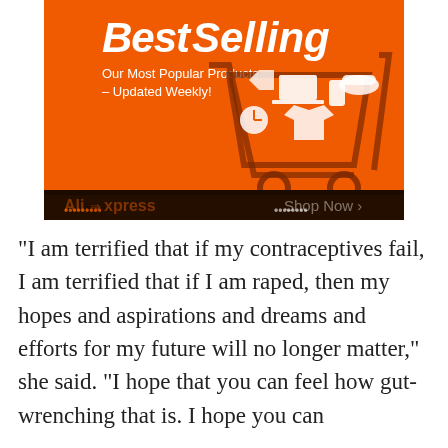[Figure (infographic): AliExpress Best Selling advertisement banner. Orange background with a shopping cart filled with various product icons (laptop, phone, clothing, accessories, clock, etc.). Text reads 'Best Selling' in large bold italic letters, 'Our Most Popular Products – Updated Weekly!' below. Bottom bar shows 'AliExpress' logo in orange and 'Shop Now >' in white on dark background.]
“I am terrified that if my contraceptives fail, I am terrified that if I am raped, then my hopes and aspirations and dreams and efforts for my future will no longer matter,” she said. “I hope that you can feel how gut-wrenching that is. I hope you can